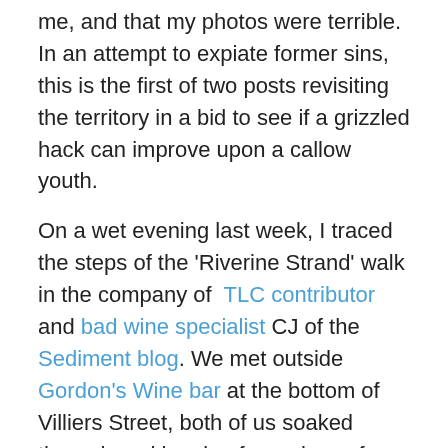me, and that my photos were terrible. In an attempt to expiate former sins, this is the first of two posts revisiting the territory in a bid to see if a grizzled hack can improve upon a callow youth.
On a wet evening last week, I traced the steps of the 'Riverine Strand' walk in the company of TLC contributor and bad wine specialist CJ of the Sediment blog. We met outside Gordon's Wine bar at the bottom of Villiers Street, both of us soaked through and longing for a glass of anything a notch above foul. Gordon's advertises itself as 'London's oldest wine bar', and it remains an atmospheric place to drink, although it has become more of a corporate playground in recent years. On this occasion our way to the bar was barred by thronging suits, which is why this piece lacks a picture of the vaulted cellar which is